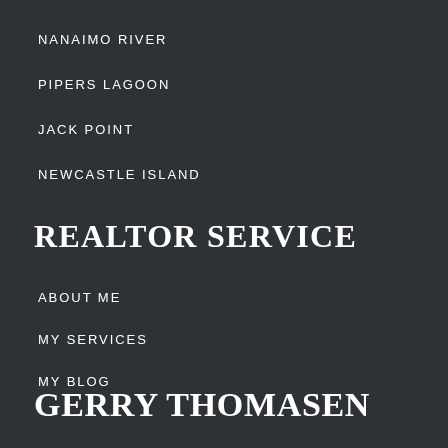NANAIMO RIVER
PIPERS LAGOON
JACK POINT
NEWCASTLE ISLAND
REALTOR SERVICE
ABOUT ME
MY SERVICES
MY BLOG
CONTACT FORM
GERRY THOMASEN